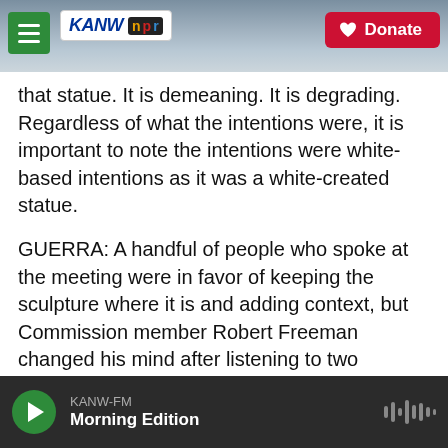KANW NPR | Donate
that statue. It is demeaning. It is degrading. Regardless of what the intentions were, it is important to note the intentions were white-based intentions as it was a white-created statue.
GUERRA: A handful of people who spoke at the meeting were in favor of keeping the sculpture where it is and adding context, but Commission member Robert Freeman changed his mind after listening to two mothers in another recent virtual meeting. They spoke of bringing their sons to see the sculpture. The boys immediately noticed the shirtless Black man with broken shackles on his
KANW-FM  Morning Edition